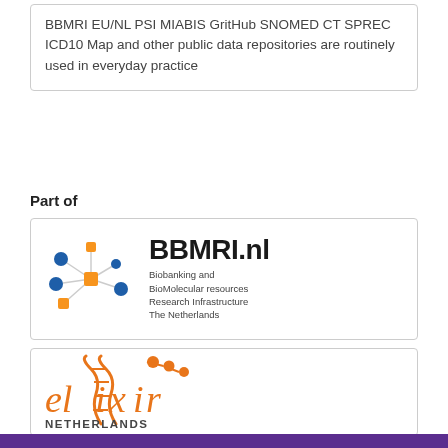BBMRI EU/NL PSI MIABIS GritHub SNOMED CT SPREC ICD10 Map and other public data repositories are routinely used in everyday practice
Part of
[Figure (logo): BBMRI.nl logo with network graph icon and text: Biobanking and BioMolecular resources Research Infrastructure The Netherlands]
[Figure (logo): ELIXIR Netherlands logo with orange DNA helix and stylized text 'elixir NETHERLANDS']